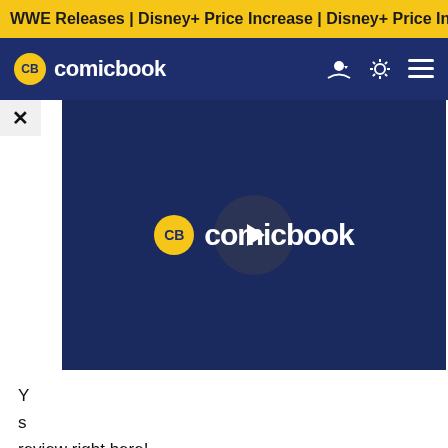WWE Releases | Disney+ Price Increase | Disney+ Price Incre
CB comicbook
[Figure (screenshot): ComicBook video player placeholder showing CB comicbook logo with a play button overlay on dark navy background]
Y... s... review right here!
"Based on the best-selling fantasy series of books, The